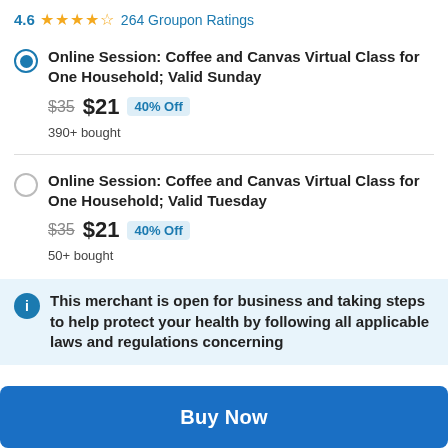4.6 ★★★★½ 264 Groupon Ratings
Online Session: Coffee and Canvas Virtual Class for One Household; Valid Sunday — $35 $21 40% Off — 390+ bought
Online Session: Coffee and Canvas Virtual Class for One Household; Valid Tuesday — $35 $21 40% Off — 50+ bought
This merchant is open for business and taking steps to help protect your health by following all applicable laws and regulations concerning
Buy Now